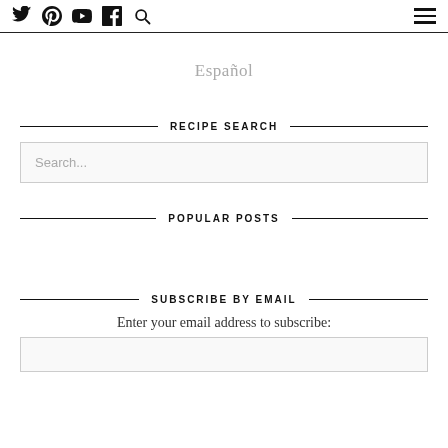Social icons (Twitter, Pinterest, YouTube, Facebook, Search) and hamburger menu
Español
RECIPE SEARCH
Search...
POPULAR POSTS
SUBSCRIBE BY EMAIL
Enter your email address to subscribe: